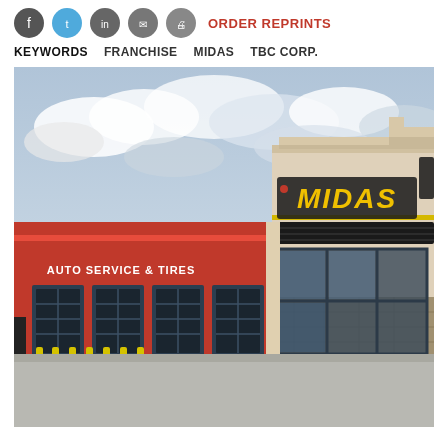ORDER REPRINTS | KEYWORDS: FRANCHISE | MIDAS | TBC CORP.
[Figure (photo): Exterior photo of a Midas Auto Service & Tires franchise building. The building features a red metal panel facade on the service bay section with multiple black-framed garage doors, and a taller stone-clad tower section on the right with a large MIDAS sign. Yellow bollards line the front. Overcast cloudy sky in background.]